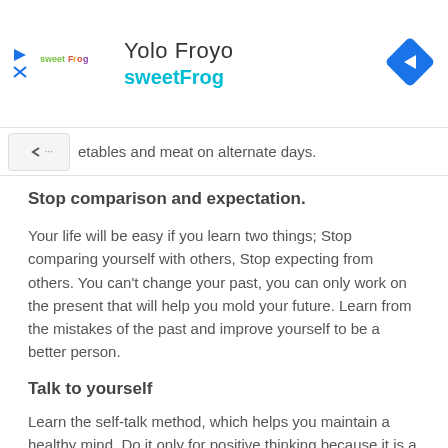[Figure (logo): sweetFrog advertisement banner with logo, store name 'Yolo Froyo', subtitle 'sweetFrog' in teal, and a blue diamond-shaped navigation arrow icon]
…etables and meat on alternate days.
Stop comparison and expectation.
Your life will be easy if you learn two things; Stop comparing yourself with others, Stop expecting from others. You can't change your past, you can only work on the present that will help you mold your future. Learn from the mistakes of the past and improve yourself to be a better person.
Talk to yourself
Learn the self-talk method, which helps you maintain a healthy mind. Do it only for positive thinking because it is a sensitive technique.
Make Schedules